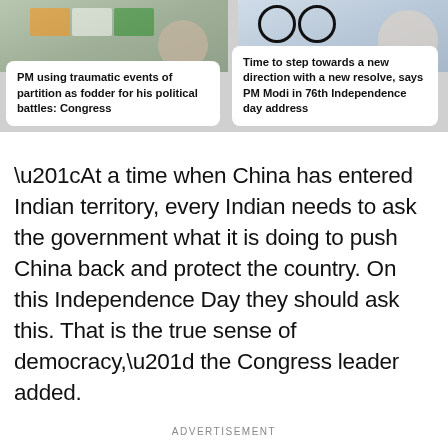[Figure (photo): Top strip with news article cards overlaid on photos. Card 1: photo of person with Indian flags. Card 2: photo with Indian flag. Card 3: partially visible.]
PM using traumatic events of partition as fodder for his political battles: Congress
Time to step towards a new direction with a new resolve, says PM Modi in 76th Independence day address
“At a time when China has entered Indian territory, every Indian needs to ask the government what it is doing to push China back and protect the country. On this Independence Day they should ask this. That is the true sense of democracy,” the Congress leader added.
ADVERTISEMENT